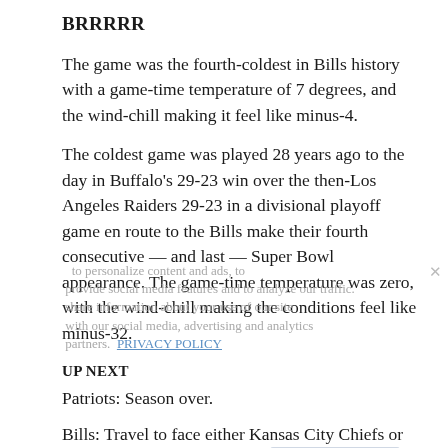BRRRRR
The game was the fourth-coldest in Bills history with a game-time temperature of 7 degrees, and the wind-chill making it feel like minus-4.
The coldest game was played 28 years ago to the day in Buffalo's 29-23 win over the then-Los Angeles Raiders 29-23 in a divisional playoff game en route to the Bills make their fourth consecutive — and last — Super Bowl appearance. The game-time temperature was zero, with the wind-chill making the conditions feel like minus-32.
UP NEXT
Patriots: Season over.
Bills: Travel to face either Kansas City Chiefs or host the Cincinnati Bengals.